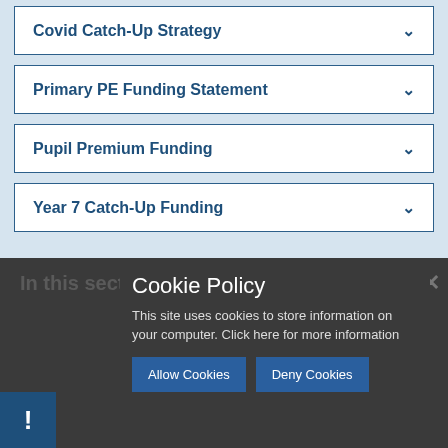Covid Catch-Up Strategy
Primary PE Funding Statement
Pupil Premium Funding
Year 7 Catch-Up Funding
In this section
Cookie Policy
This site uses cookies to store information on your computer. Click here for more information
Allow Cookies
Deny Cookies